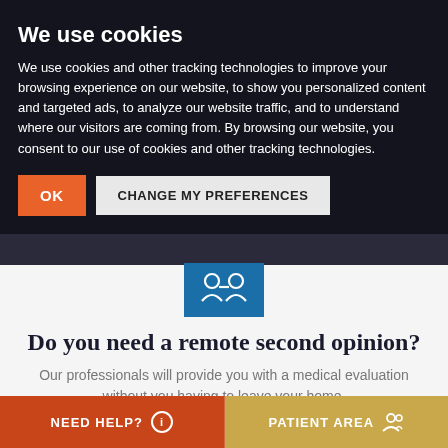We use cookies
We use cookies and other tracking technologies to improve your browsing experience on our website, to show you personalized content and targeted ads, to analyze our website traffic, and to understand where our visitors are coming from. By browsing our website, you consent to our use of cookies and other tracking technologies.
OK | CHANGE MY PREFERENCES
[Figure (illustration): Blue box with medical/stethoscope icon in white]
Do you need a remote second opinion?
Our professionals will provide you with a medical evaluation without you having to leave your home.
I WANT A REMOTE SECOND OPINION
NEED HELP?  |  PATIENT AREA